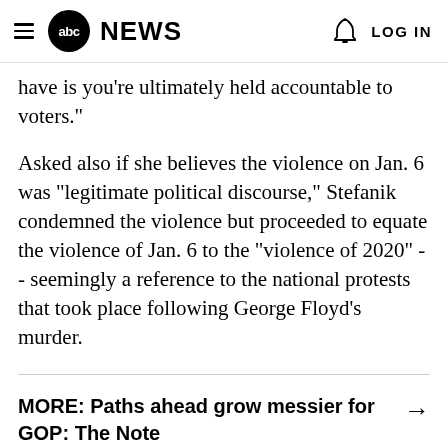abc NEWS | LOG IN
have is you're ultimately held accountable to voters."
Asked also if she believes the violence on Jan. 6 was "legitimate political discourse," Stefanik condemned the violence but proceeded to equate the violence of Jan. 6 to the "violence of 2020" -- seemingly a reference to the national protests that took place following George Floyd's murder.
MORE: Paths ahead grow messier for GOP: The Note →